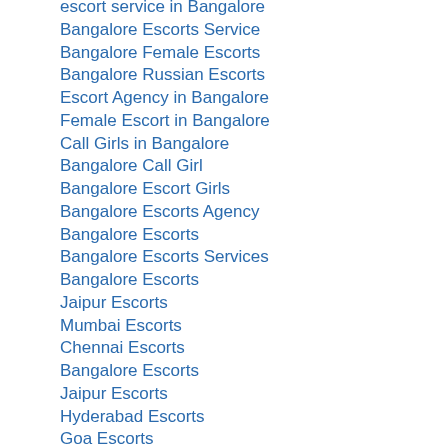escort service in Bangalore
Bangalore Escorts Service
Bangalore Female Escorts
Bangalore Russian Escorts
Escort Agency in Bangalore
Female Escort in Bangalore
Call Girls in Bangalore
Bangalore Call Girl
Bangalore Escort Girls
Bangalore Escorts Agency
Bangalore Escorts
Bangalore Escorts Services
Bangalore Escorts
Jaipur Escorts
Mumbai Escorts
Chennai Escorts
Bangalore Escorts
Jaipur Escorts
Hyderabad Escorts
Goa Escorts
Reply